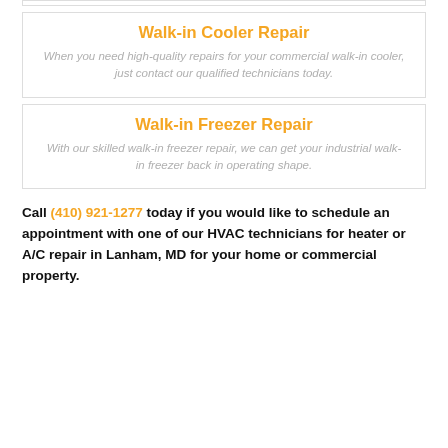Walk-in Cooler Repair
When you need high-quality repairs for your commercial walk-in cooler, just contact our qualified technicians today.
Walk-in Freezer Repair
With our skilled walk-in freezer repair, we can get your industrial walk-in freezer back in operating shape.
Call (410) 921-1277 today if you would like to schedule an appointment with one of our HVAC technicians for heater or A/C repair in Lanham, MD for your home or commercial property.